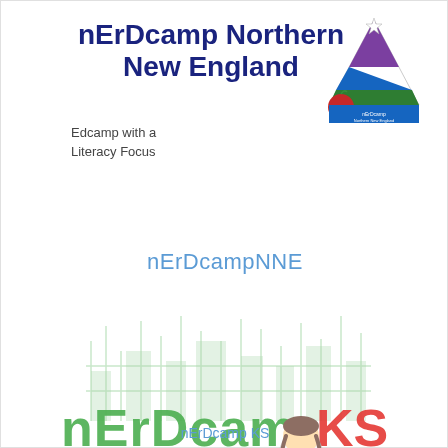nErDcamp Northern New England
Edcamp with a Literacy Focus
[Figure (logo): nErDcamp Northern New England logo: a triangular wizard hat with purple, blue, and green bands, with a red apple and the text 'nErDcamp Northern New England' at the base.]
nErDcampNNE
[Figure (illustration): nErDcampKS illustration: green Emerald City skyline in the background, with 'nErDcampKS' text in green, and a girl reading a blue book while lying on a yellow brick road with a small dog and a basket with a red apple beside her.]
nErDcamp KS